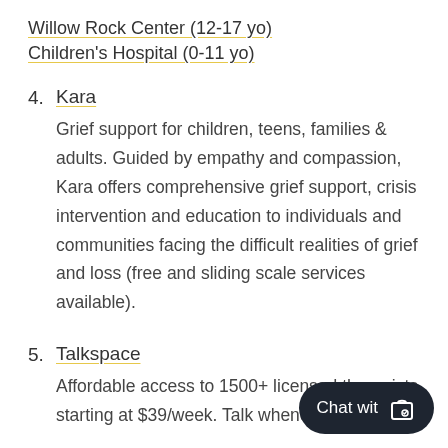Willow Rock Center (12-17 yo)
Children's Hospital (0-11 yo)
4. Kara
Grief support for children, teens, families & adults. Guided by empathy and compassion, Kara offers comprehensive grief support, crisis intervention and education to individuals and communities facing the difficult realities of grief and loss (free and sliding scale services available).
5. Talkspace
Affordable access to 1500+ licensed therapists starting at $39/week. Talk whenever and